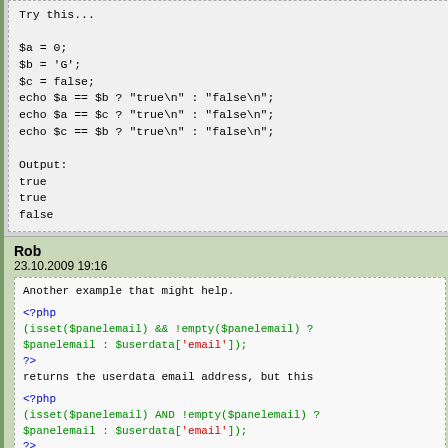Try this...
$a = 0;
$b = 'G';
$c = false;
echo $a == $b ? "true\n" : "false\n";
echo $a == $c ? "true\n" : "false\n";
echo $c == $b ? "true\n" : "false\n";

Output:
true
true
false

Very dangerous...
Rob
23.10.2009 19:16
Another example that might help.

<?php
(isset($panelemail) && !empty($panelemail) ? $panelemail : $userdata['email']);
?>
returns the userdata email address, but this

<?php
(isset($panelemail) AND !empty($panelemail) ? $panelemail : $userdata['email']);
?>
returns false.

The reason is that the two types of ands have a different order of precedence. "&&" is higher than "AND", and the "?:" operator just happens to come between the two. Also, since "||" (or) is actually...